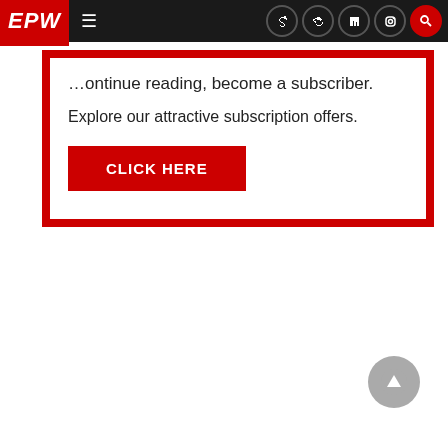EPW | navigation bar with social icons
...ontinue reading, become a subscriber.
Explore our attractive subscription offers.
CLICK HERE
[Figure (other): Scroll-to-top circular grey button with upward arrow]